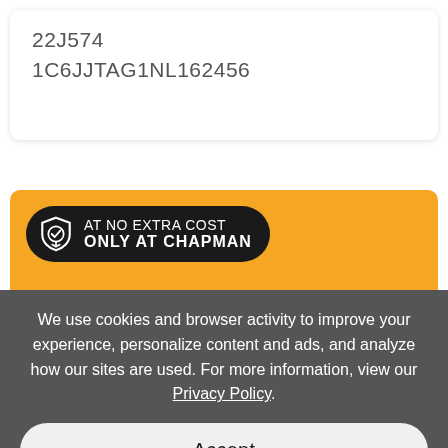22J574
1C6JJTAG1NL162456
[Figure (logo): Orange Chapman dealership banner with black pill badge reading 'AT NO EXTRA COST / ONLY AT CHAPMAN' with a shield icon, and large bold italic text 'CHAPMAN' at the bottom]
We use cookies and browser activity to improve your experience, personalize content and ads, and analyze how our sites are used. For more information, view our Privacy Policy.
Accept